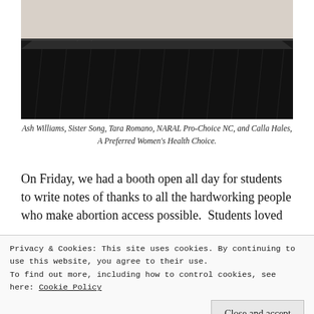[Figure (photo): A dark-draped stage with folding chairs visible; people's feet and legs visible at top; black skirted table on stage]
Ash Williams, Sister Song, Tara Romano, NARAL Pro-Choice NC, and Calla Hales, A Preferred Women's Health Choice.
On Friday, we had a booth open all day for students to write notes of thanks to all the hardworking people who make abortion access possible. Students loved
Privacy & Cookies: This site uses cookies. By continuing to use this website, you agree to their use.
To find out more, including how to control cookies, see here: Cookie Policy
Close and accept
[Figure (photo): Bottom strip showing colorful materials, pink and teal colors visible]